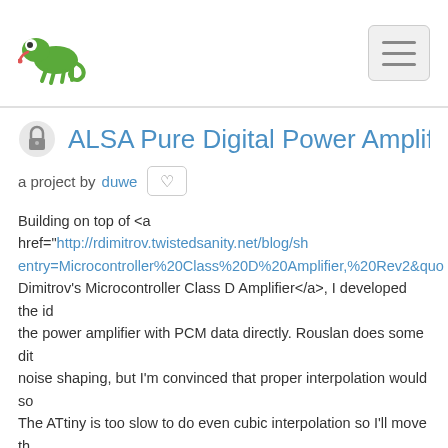Navigation bar with logo and menu button
ALSA Pure Digital Power Amplifier
a project by duwe
Building on top of <a href="http://rdimitrov.twistedsanity.net/blog/sh entry=Microcontroller%20Class%20D%20Amplifier,%20Rev2&quo Dimitrov's Microcontroller Class D Amplifier</a>, I developed the id the power amplifier with PCM data directly. Rouslan does some dit noise shaping, but I'm convinced that proper interpolation would so The ATtiny is too slow to do even cubic interpolation so I'll move th host.
[Figure (other): User avatar/icon - pixel art style robot/alien character in orange and dark purple square]
Updated 6 months ago. 2 hacker ♥.
'Who's that guy?' - a floor based mini g